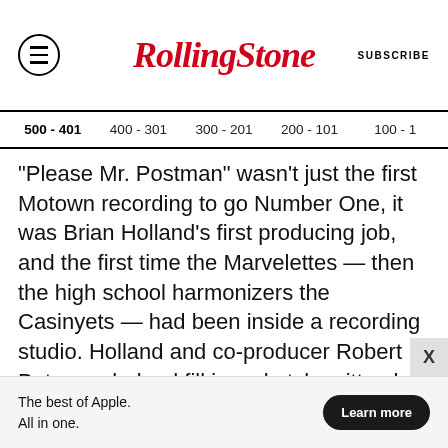Rolling Stone | SUBSCRIBE
500 - 401  400 - 301  300 - 201  200 - 101  100 - 1
"Please Mr. Postman" wasn't just the first Motown recording to go Number One, it was Brian Holland's first producing job, and the first time the Marvelettes — then the high school harmonizers the Casinyets — had been inside a recording studio. Holland and co-producer Robert Bateman helped fill in a sketch written by departed group member Georgia Dobbins, bringing in Freddie Gorman, an actual postman (who was still in uniform at the studio) for verisimilitude. Afterward, Berry Gordy decided to rename the marvelous
The best of Apple. All in one. Learn more